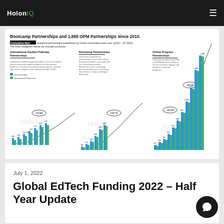HolonIQ
[Figure (grouped-bar-chart): Grouped bar chart showing cumulative new academic partnerships established by Global Universities each year (2010-1H 2022). Three categories: International Student Pathway Partnerships, Bootcamp Partnerships, and Online Program Partnerships. US Universities (blue) and International Universities (green) shown. Key values: ISP shows +25.8%, Bootcamp shows +58.7%, OPM shows +25.0% and +69.9%. Final bars show 1,583 and 1,688 for OPM partnerships.]
July 1, 2022
Global EdTech Funding 2022 – Half Year Update